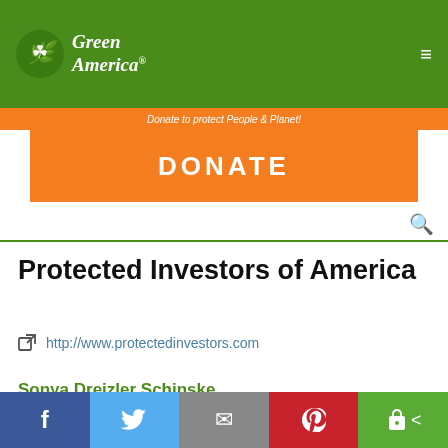Green America
Donate to protect People & Planet!
DONATE
Protected Investors of America
http://www.protectedinvestors.com
Sonya Dreizler Schinske